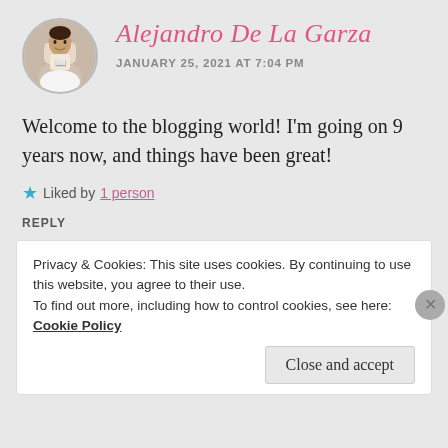[Figure (photo): Circular avatar photo of a man holding a book, wearing a white t-shirt]
Alejandro De La Garza
JANUARY 25, 2021 AT 7:04 PM
Welcome to the blogging world! I'm going on 9 years now, and things have been great!
★ Liked by 1 person
REPLY
Privacy & Cookies: This site uses cookies. By continuing to use this website, you agree to their use. To find out more, including how to control cookies, see here: Cookie Policy
Close and accept